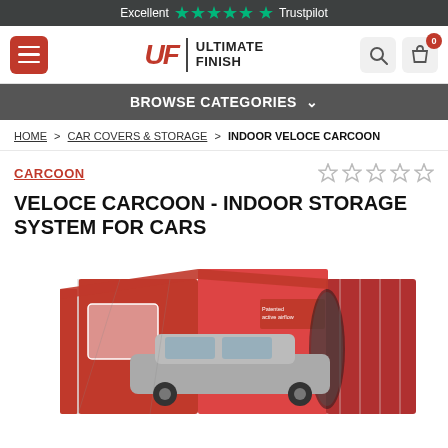Excellent ★★★★★ Trustpilot
[Figure (screenshot): Ultimate Finish logo with UF in red italic and navigation icons including hamburger menu, search, and cart with 0 badge]
BROWSE CATEGORIES
HOME > CAR COVERS & STORAGE > INDOOR VELOCE CARCOON
CARCOON
VELOCE CARCOON - INDOOR STORAGE SYSTEM FOR CARS
[Figure (photo): Red Carcoon indoor car storage tent enclosure with a car inside, showing patented active airflow labeling on the side]